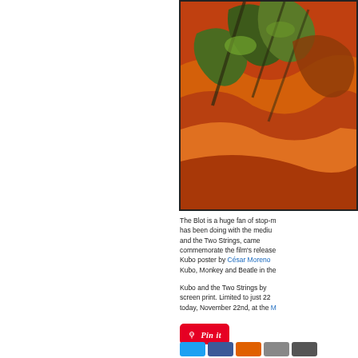[Figure (illustration): Illustration from Kubo and the Two Strings poster showing characters Kubo, Monkey and Beetle in a colorful artistic style with orange and green tones]
The Blot is a huge fan of stop-motion and what LAIKA has been doing with the medium. Kubo and the Two Strings, came out several prints to commemorate the film's release. First up is this Kubo poster by César Moreno featuring Kubo, Monkey and Beatle in the...
Kubo and the Two Strings by... screen print. Limited to just 22... today, November 22nd, at the M...
[Figure (logo): Pinterest Pin it button - red rounded rectangle with white italic 'Pin it' text]